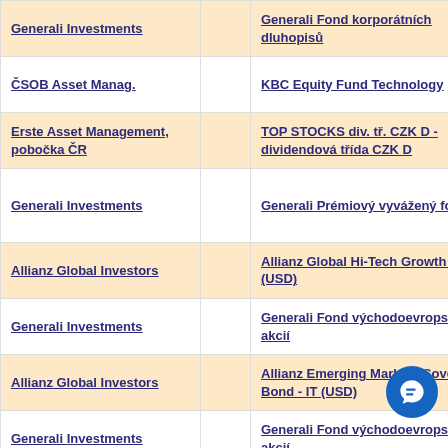| Správce |  | Název fondu | Typ fondu |
| --- | --- | --- | --- |
| Generali Investments |  | Generali Fond korporátních dluhopisů | Dluhopisový fond |
| ČSOB Asset Manag. |  | KBC Equity Fund Technology | Akciový fond |
| Erste Asset Management, pobočka ČR |  | TOP STOCKS div. tř. CZK D - dividendová třída CZK D | Akciový fond |
| Generali Investments |  | Generali Prémiový vyvážený fond | Smíšený / Balanc. fond |
| Allianz Global Investors |  | Allianz Global Hi-Tech Growth - A (USD) | Akciový fond |
| Generali Investments |  | Generali Fond východoevropských akcií | Akciový fond |
| Allianz Global Investors |  | Allianz Emerging Markets Sovereign Bond - IT (USD) | Dluhopisový fond |
| Generali Investments |  | Generali Fond východoevropských akcií | Akciový fond |
| ČSOB Asset Manag. |  | KBC Multi Track Germany | Akciový fond |
| Erste Asset Management, pobočka ČR |  | Trendbond | Dluhopisový fond |
| Allianz Global Investors |  | Allianz Europe Equity Growth Select - A (EUR) | Akciový fond |
| ČSOB Asset Manag. |  | KBC Multi Track Germany Classic Shares CZK | Akciový fond |